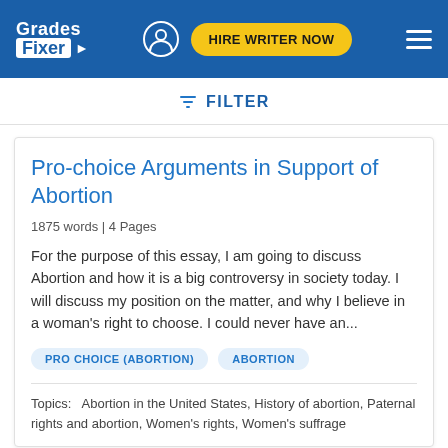Grades Fixer — HIRE WRITER NOW
FILTER
Pro-choice Arguments in Support of Abortion
1875 words | 4 Pages
For the purpose of this essay, I am going to discuss Abortion and how it is a big controversy in society today. I will discuss my position on the matter, and why I believe in a woman's right to choose. I could never have an...
PRO CHOICE (ABORTION)
ABORTION
Topics: Abortion in the United States, History of abortion, Paternal rights and abortion, Women's rights, Women's suffrage